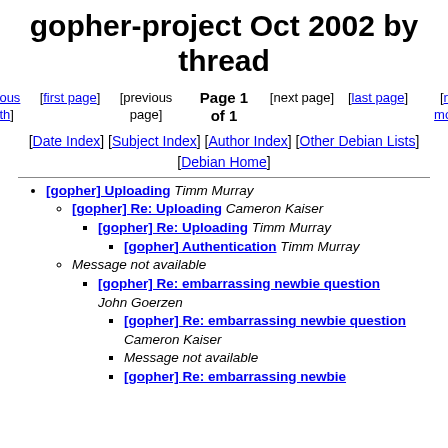gopher-project Oct 2002 by thread
Page 1 of 1
[previous month] [first page] [previous page] Page 1 of 1 [next page] [last page] [next month]
[Date Index] [Subject Index] [Author Index] [Other Debian Lists] [Debian Home]
[gopher] Uploading Timm Murray
[gopher] Re: Uploading Cameron Kaiser
[gopher] Re: Uploading Timm Murray
[gopher] Authentication Timm Murray
Message not available
[gopher] Re: embarrassing newbie question John Goerzen
[gopher] Re: embarrassing newbie question Cameron Kaiser
Message not available
[gopher] Re: embarrassing newbie